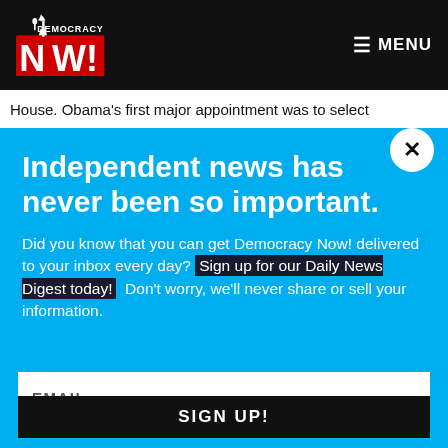Democracy Now! — MENU
House. Obama's first major appointment was to select
Independent news has never been so important.
Did you know that you can get Democracy Now! delivered to your inbox every day? Sign up for our Daily News Digest today! Don't worry, we'll never share or sell your information.
EMAIL
SIGN UP!